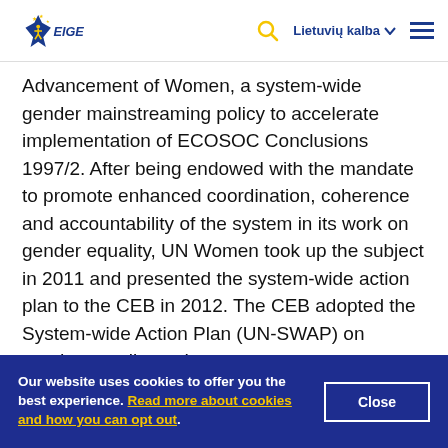EIGE logo | Search | Lietuvių kalba | Menu
Advancement of Women, a system-wide gender mainstreaming policy to accelerate implementation of ECOSOC Conclusions 1997/2. After being endowed with the mandate to promote enhanced coordination, coherence and accountability of the system in its work on gender equality, UN Women took up the subject in 2011 and presented the system-wide action plan to the CEB in 2012. The CEB adopted the System-wide Action Plan (UN-SWAP) on gender equality and
Our website uses cookies to offer you the best experience. Read more about cookies and how you can opt out.